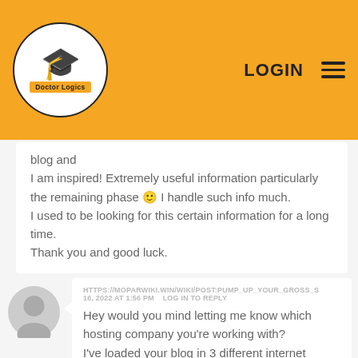[Figure (logo): Doctor Logics logo with graduation cap inside an oval, on a golden/amber header bar with LOGIN and hamburger menu on the right]
blog and
I am inspired! Extremely useful information particularly the remaining phase 🙂 I handle such info much.
I used to be looking for this certain information for a long time.
Thank you and good luck.
HTTPS://MOPARWIKI.WIN/WIKI/POST:PUMP_UP_YOUR_GROSS_S 16, 2022 AT 1:56 PM  LOG IN TO REPLY
Hey would you mind letting me know which hosting company you're working with?
I've loaded your blog in 3 different internet browsers and I must say this blog loads a lot faster then most.